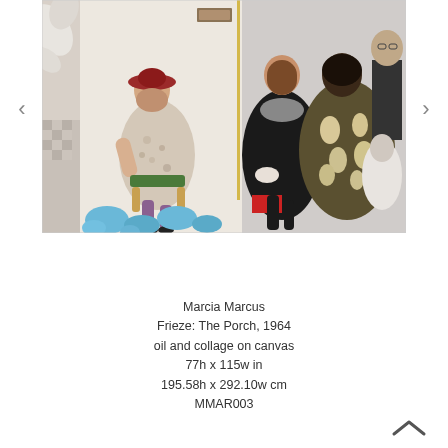[Figure (photo): A painting titled 'Frieze: The Porch, 1964' by Marcia Marcus showing multiple figures: a woman in a red hat and floral dress seated on a green chair, a woman in black seated in center, a woman in a dark floral coat on the right, and a black-and-white photographic-style rendering of a man and child on the far right. The background includes abstract blue cloud-like shapes at the bottom and a white/cream background. Left edge has a decorative floral/leaf pattern.]
Marcia Marcus
Frieze: The Porch, 1964
oil and collage on canvas
77h x 115w in
195.58h x 292.10w cm
MMAR003